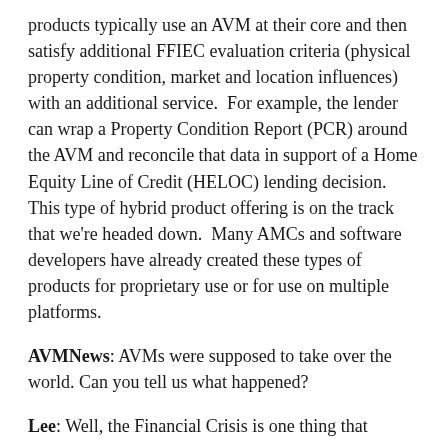products typically use an AVM at their core and then satisfy additional FFIEC evaluation criteria (physical property condition, market and location influences) with an additional service.  For example, the lender can wrap a Property Condition Report (PCR) around the AVM and reconcile that data in support of a Home Equity Line of Credit (HELOC) lending decision.  This type of hybrid product offering is on the track that we're headed down.  Many AMCs and software developers have already created these types of products for proprietary use or for use on multiple platforms.
AVMNews: AVMs were supposed to take over the world. Can you tell us what happened?
Lee: Well, the Financial Crisis is one thing that